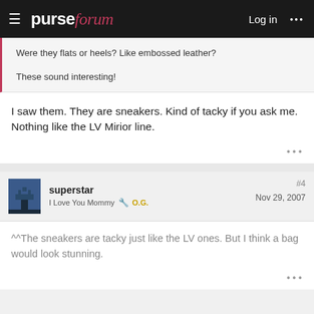purseforum — Log in
Were they flats or heels? Like embossed leather?

These sound interesting!
I saw them. They are sneakers. Kind of tacky if you ask me. Nothing like the LV Mirior line.
superstar
I Love You Mommy  O.G.
#4
Nov 29, 2007
^^The sneakers are tacky just like the LV ones. But I think a bag would look stunning.